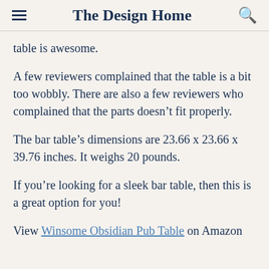The Design Home
table is awesome.
A few reviewers complained that the table is a bit too wobbly. There are also a few reviewers who complained that the parts doesn’t fit properly.
The bar table’s dimensions are 23.66 x 23.66 x 39.76 inches. It weighs 20 pounds.
If you’re looking for a sleek bar table, then this is a great option for you!
View Winsome Obsidian Pub Table on Amazon